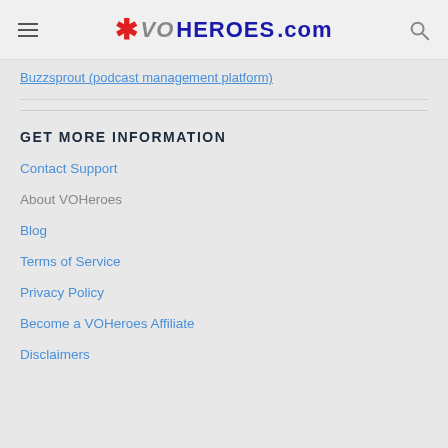VOHeroes.com
Buzzsprout (podcast management platform)
GET MORE INFORMATION
Contact Support
About VOHeroes
Blog
Terms of Service
Privacy Policy
Become a VOHeroes Affiliate
Disclaimers